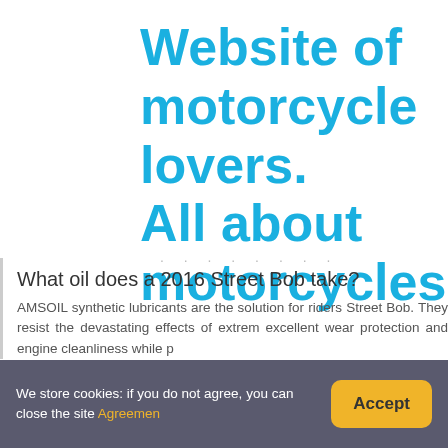Website of motorcycle lovers. All about motorcycles
What oil does a 2016 Street Bob take?
AMSOIL synthetic lubricants are the solution for riders Street Bob. They resist the devastating effects of extreme excellent wear protection and engine cleanliness while p
We store cookies: if you do not agree, you can close the site Agreement